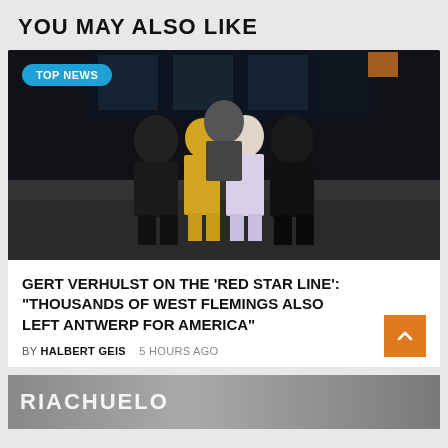YOU MAY ALSO LIKE
[Figure (photo): Group of five people posing together in a dark industrial space. Two women in the center wearing a yellow suit and white outfit, flanked by men in black clothing. A badge reads 'TOP NEWS'.]
GERT VERHULST ON THE 'RED STAR LINE': "THOUSANDS OF WEST FLEMINGS ALSO LEFT ANTWERP FOR AMERICA"
BY HALBERT GEIS   5 HOURS AGO
[Figure (photo): Bottom partial image showing text 'RIACHUELO' in large letters with a person visible.]